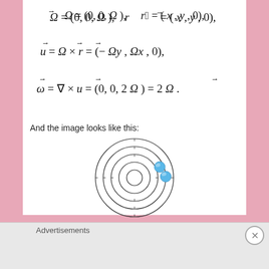And the image looks like this:
[Figure (illustration): Concentric circles (orbits) with two blue spheres on one of the orbits, depicting vorticity field lines in a rotating frame.]
Advertisements